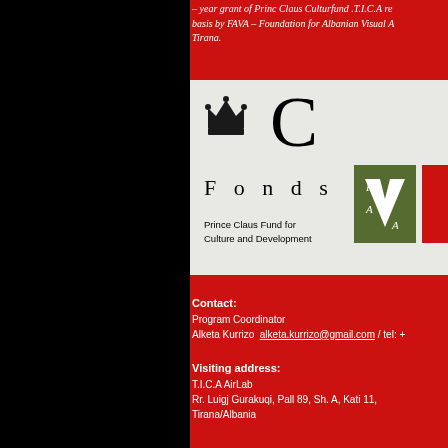– year grant of Princ Claus Culturfund .T.I.C.A re basis by FAVA – Foundation for Albanian Visual A Tirana.
[Figure (logo): Prince Claus Fund for Culture and Development logo with crown and large C letter, alongside FAVA green logo box and red stripe]
Contact:
Program Coordinator
Alketa Kurrizo  alketa.kurrizo@gmail.com / tel: +
Visiting address:
T.I.C.A AirLab
Rr. Luigj Gurakuqi, Pall 89, Sh. A, Kati 11,
Tirana/Albania